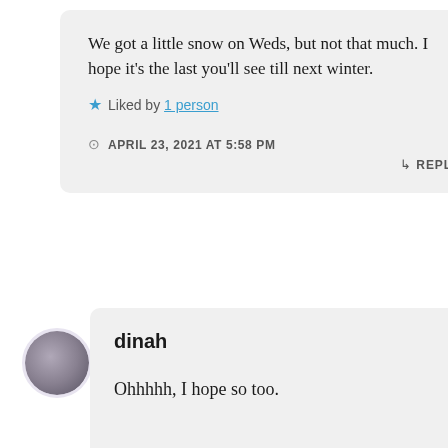We got a little snow on Weds, but not that much. I hope it's the last you'll see till next winter.
★ Liked by 1 person
APRIL 23, 2021 AT 5:58 PM
↳ REPLY
[Figure (photo): User avatar circle with dark gradient illustration of a cat or animal silhouette]
dinah
Ohhhhh, I hope so too.